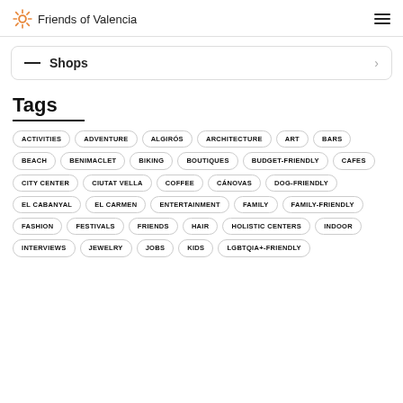Friends of Valencia
— Shops >
Tags
ACTIVITIES
ADVENTURE
ALGIRÓS
ARCHITECTURE
ART
BARS
BEACH
BENIMACLET
BIKING
BOUTIQUES
BUDGET-FRIENDLY
CAFES
CITY CENTER
CIUTAT VELLA
COFFEE
CÁNOVAS
DOG-FRIENDLY
EL CABANYAL
EL CARMEN
ENTERTAINMENT
FAMILY
FAMILY-FRIENDLY
FASHION
FESTIVALS
FRIENDS
HAIR
HOLISTIC CENTERS
INDOOR
INTERVIEWS
JEWELRY
JOBS
KIDS
LGBTQIA+-FRIENDLY